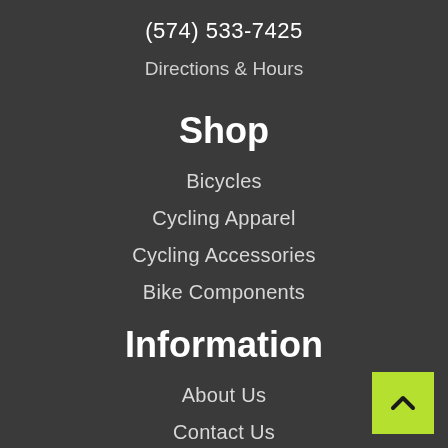(574) 533-7425
Directions & Hours
Shop
Bicycles
Cycling Apparel
Cycling Accessories
Bike Components
Information
About Us
Contact Us
Careers
Financing
[Figure (other): Back to top button with upward chevron arrow on lime green background]